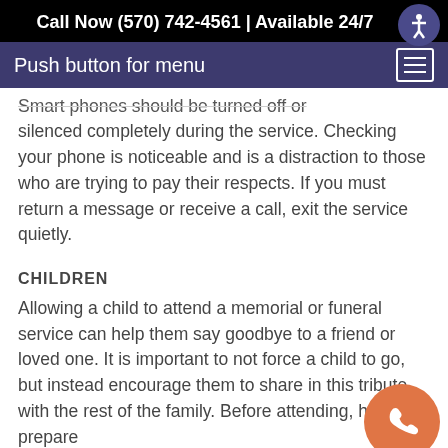Call Now (570) 742-4561 | Available 24/7
Push button for menu
Smart phones should be turned off or silenced completely during the service. Checking your phone is noticeable and is a distraction to those who are trying to pay their respects. If you must return a message or receive a call, exit the service quietly.
CHILDREN
Allowing a child to attend a memorial or funeral service can help them say goodbye to a friend or loved one. It is important to not force a child to go, but instead encourage them to share in this tribute with the rest of the family. Before attending, help prepare